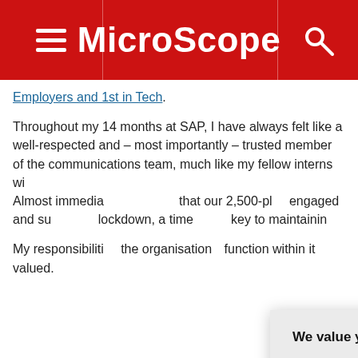MicroScope
Employers and 1st in Tech.
Throughout my 14 months at SAP, I have always felt like a well-respected and – most importantly – trusted member of the communications team, much like my fellow interns wi...
Almost immediat... that our 2,500-pl... engaged and su... lockdown, a time... key to maintainin...
My responsibiliti... the organisation... function within it... valued.
[Figure (screenshot): Privacy consent modal dialog. Title: 'We value your privacy.' Body: 'TechTarget and its partners employ cookies to improve your experience on our site, to analyze traffic and performance, and to serve personalized content and advertising that are relevant to your professional interests. You can manage your settings at any time. Please view our Privacy Policy for more information'. Buttons: OK (teal), Settings (white/outlined). Close X button in top right.]